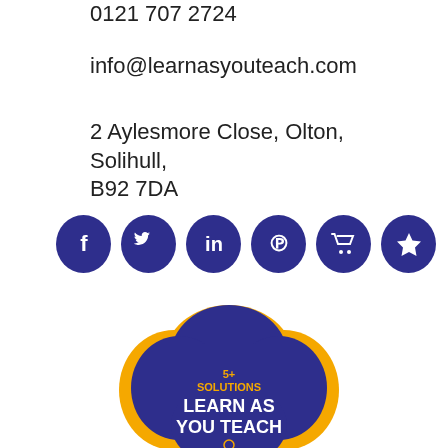0121 707 2724
info@learnasyouteach.com
2 Aylesmore Close, Olton, Solihull, B92 7DA
[Figure (infographic): Six circular dark blue social media icons in a row: Facebook, Twitter, LinkedIn, Pinterest, Shopping cart, Star]
[Figure (logo): 5+ Solutions Learn As You Teach logo: dark blue cloud/flower shape with yellow/gold background, text '5+ SOLUTIONS' in yellow and 'LEARN AS YOU TEACH' in white, with a small person icon at the bottom]